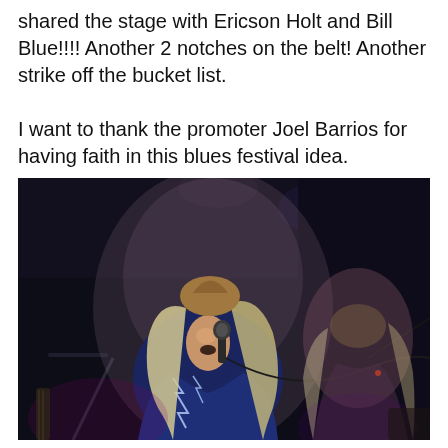shared the stage with Ericson Holt and Bill Blue!!!! Another 2 notches on the belt! Another strike off the bucket list.

I want to thank the promoter Joel Barrios for having faith in this blues festival idea.
[Figure (photo): Concert photo of a female singer with long blonde hair performing on stage, singing into a microphone, wearing a blue patterned top. Another person with long hair is visible to the right. Stage lighting illuminates the scene against a dark background.]